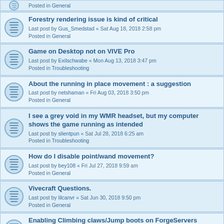Posted in General
Forestry rendering issue is kind of critical
Last post by Gus_Smedstad « Sat Aug 18, 2018 2:58 pm
Posted in General
Game on Desktop not on VIVE Pro
Last post by Exilschwabe « Mon Aug 13, 2018 3:47 pm
Posted in Troubleshooting
About the running in place movement : a suggestion
Last post by netshaman « Fri Aug 03, 2018 3:50 pm
Posted in General
I see a grey void in my WMR headset, but my computer shows the game running as intended
Last post by slientpun « Sat Jul 28, 2018 6:25 am
Posted in Troubleshooting
How do I disable point/wand movement?
Last post by bey108 « Fri Jul 27, 2018 9:59 am
Posted in General
Vivecraft Questions.
Last post by lilcanvr « Sat Jun 30, 2018 9:50 pm
Posted in General
Enabling Climbing claws/Jump boots on ForgeServers
Last post by CaelThunderwing « Thu Jun 14, 2018 6:57 pm
Posted in General
Feed the Beast Continuum issues
Last post by DrWatson07 « Fri Jun 01, 2018 12:06 am
Posted in Troubleshooting